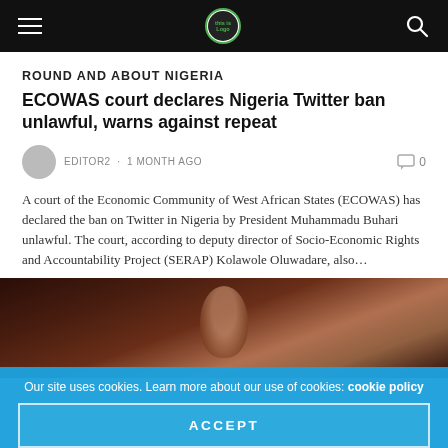Navigation bar with hamburger menu, site logo, and search icon
ROUND AND ABOUT NIGERIA
ECOWAS court declares Nigeria Twitter ban unlawful, warns against repeat
EDITOR2 · 1 MONTH AGO   0
A court of the Economic Community of West African States (ECOWAS) has declared the ban on Twitter in Nigeria by President Muhammadu Buhari unlawful. The court, according to deputy director of Socio-Economic Rights and Accountability Project (SERAP) Kolawole Oluwadare, also…
[Figure (photo): Dark, partially lit photograph showing a figure in a dim setting with warm brown tones]
Our site uses cookies. Learn more about our use of cookies: cookie policy
ACCEPT